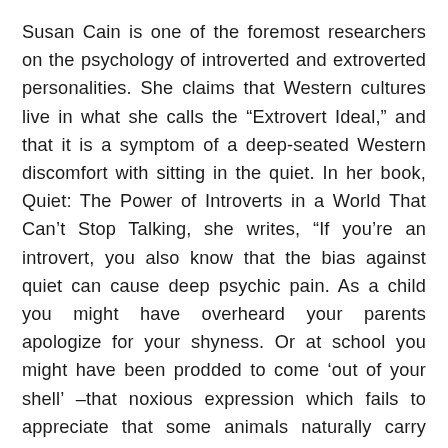Susan Cain is one of the foremost researchers on the psychology of introverted and extroverted personalities. She claims that Western cultures live in what she calls the “Extrovert Ideal,” and that it is a symptom of a deep-seated Western discomfort with sitting in the quiet. In her book, Quiet: The Power of Introverts in a World That Can’t Stop Talking, she writes, “If you’re an introvert, you also know that the bias against quiet can cause deep psychic pain. As a child you might have overheard your parents apologize for your shyness. Or at school you might have been prodded to come ‘out of your shell’ –that noxious expression which fails to appreciate that some animals naturally carry shelter everywhere they go, and some humans are just the same.”